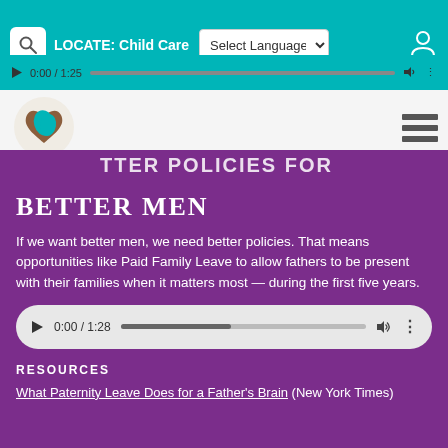LOCATE: Child Care  Select Language
[Figure (screenshot): Website navigation bar with search icon, LOCATE: Child Care label, language selector dropdown, and user account icon on teal background]
[Figure (screenshot): Organization logo - circular icon with brown and teal design, hamburger menu on right, partial purple banner text TTER POLICIES FOR]
BETTER MEN
If we want better men, we need better policies. That means opportunities like Paid Family Leave to allow fathers to be present with their families when it matters most — during the first five years.
[Figure (screenshot): Audio player showing 0:00 / 1:28 with play button, progress bar, volume and more options icons]
RESOURCES
What Paternity Leave Does for a Father's Brain (New York Times)